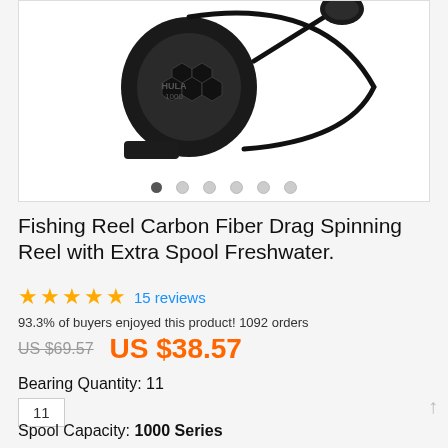[Figure (photo): Fishing reel product photo — black carbon fiber spinning reel with extra spool, shown against white background. Image carousel with 6 dot indicators, first dot active.]
Fishing Reel Carbon Fiber Drag Spinning Reel with Extra Spool Freshwater.
★★★★★ 15 reviews
93.3% of buyers enjoyed this product! 1092 orders
US $69.57  US $38.57
Bearing Quantity:  11
11
Spool Capacity:  1000 Series